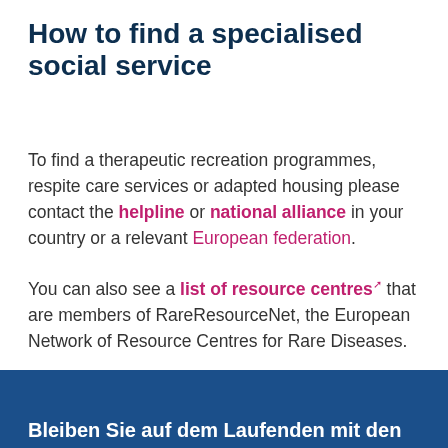How to find a specialised social service
To find a therapeutic recreation programmes, respite care services or adapted housing please contact the helpline or national alliance in your country or a relevant European federation.
You can also see a list of resource centres that are members of RareResourceNet, the European Network of Resource Centres for Rare Diseases.
Bleiben Sie auf dem Laufenden mit den